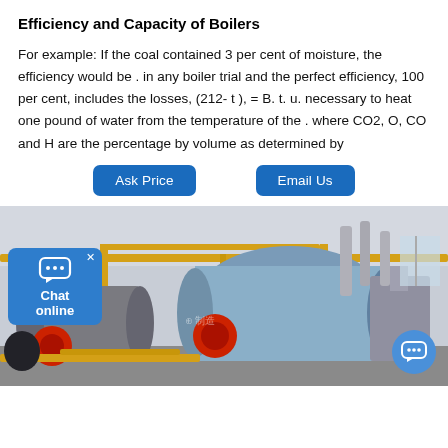Efficiency and Capacity of Boilers
For example: If the coal contained 3 per cent of moisture, the efficiency would be . in any boiler trial and the perfect efficiency, 100 per cent, includes the losses, (212- t ), = B. t. u. necessary to heat one pound of water from the temperature of the . where CO2, O, CO and H are the percentage by volume as determined by
[Figure (other): Two buttons: Ask Price and Email Us]
[Figure (photo): Industrial boiler room with multiple large blue cylindrical boilers, yellow steel framework, red burner assemblies, and various pipes. Chat online widget visible in lower left corner.]